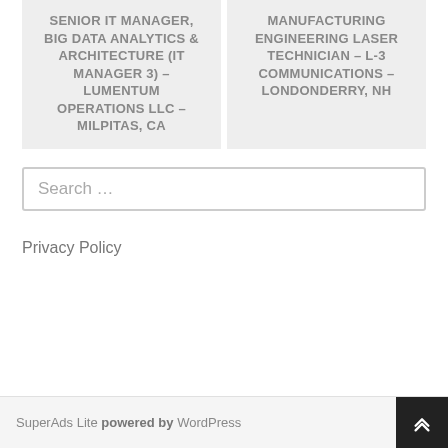SENIOR IT MANAGER, BIG DATA ANALYTICS & ARCHITECTURE (IT MANAGER 3) – LUMENTUM OPERATIONS LLC – MILPITAS, CA
MANUFACTURING ENGINEERING LASER TECHNICIAN – L-3 COMMUNICATIONS – LONDONDERRY, NH
Search …
Privacy Policy
SuperAds Lite powered by WordPress